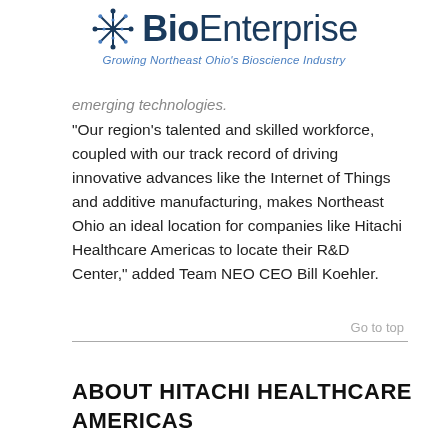BioEnterprise — Growing Northeast Ohio's Bioscience Industry
emerging technologies.
“Our region’s talented and skilled workforce, coupled with our track record of driving innovative advances like the Internet of Things and additive manufacturing, makes Northeast Ohio an ideal location for companies like Hitachi Healthcare Americas to locate their R&D Center,” added Team NEO CEO Bill Koehler.
Go to top
ABOUT HITACHI HEALTHCARE AMERICAS